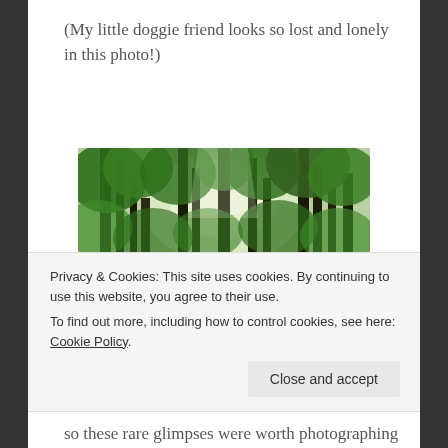(My little doggie friend looks so lost and lonely in this photo!)
[Figure (photo): A forest photo looking upward through tall green trees with bright sky visible through the canopy]
Privacy & Cookies: This site uses cookies. By continuing to use this website, you agree to their use. To find out more, including how to control cookies, see here: Cookie Policy
so these rare glimpses were worth photographing